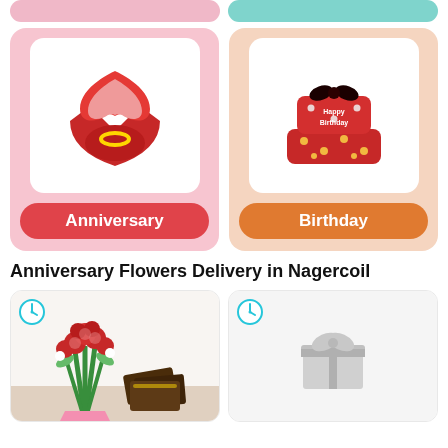[Figure (screenshot): Top navigation bar with two pill-shaped buttons: pink and teal]
[Figure (screenshot): Anniversary category card with red heart-shaped ring box image and red label]
[Figure (screenshot): Birthday category card with red birthday cake image and orange label]
Anniversary Flowers Delivery in Nagercoil
[Figure (photo): Product card with clock icon showing red roses bouquet with chocolates]
[Figure (screenshot): Product card with clock icon and placeholder gift box image]